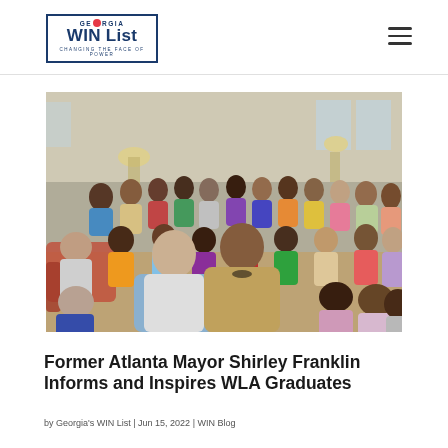Georgia WIN List — Changing the Face of Power
[Figure (photo): Group photo of women gathering indoors, with two women standing prominently in the foreground — one in a light blue jacket and one in a tan top with a beaded necklace — surrounded by a large diverse group of women seated and standing in a living room setting.]
Former Atlanta Mayor Shirley Franklin Informs and Inspires WLA Graduates
by Georgia's WIN List | Jun 15, 2022 | WIN Blog